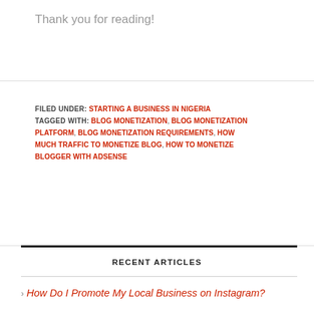Thank you for reading!
FILED UNDER: STARTING A BUSINESS IN NIGERIA
TAGGED WITH: BLOG MONETIZATION, BLOG MONETIZATION PLATFORM, BLOG MONETIZATION REQUIREMENTS, HOW MUCH TRAFFIC TO MONETIZE BLOG, HOW TO MONETIZE BLOGGER WITH ADSENSE
RECENT ARTICLES
How Do I Promote My Local Business on Instagram?